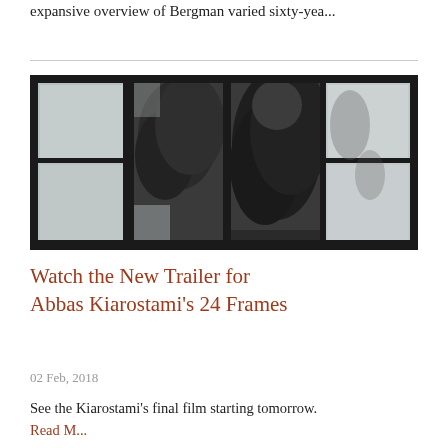expansive overview of Bergman varied sixty-yea...
[Figure (photo): Black and white photograph of an open window with dark frames, looking out at trees and foliage against a bright sky]
Watch the New Trailer for Abbas Kiarostami's 24 Frames
02 Feb, 2018
See the Kiarostami's final film starting tomorrow. Read M...